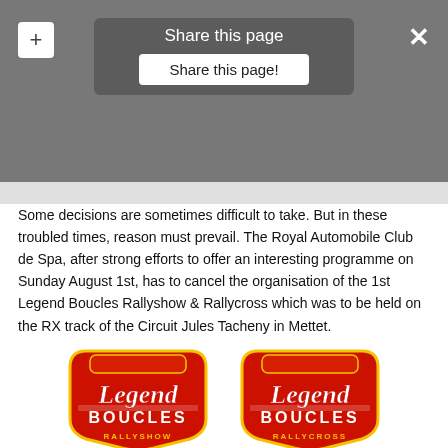[Figure (screenshot): Share this page overlay dialog with a plus button top-left, X close button top-right, and a 'Share this page!' button in the center, overlaid on greyed-out text]
Some decisions are sometimes difficult to take. But in these troubled times, reason must prevail. The Royal Automobile Club de Spa, after strong efforts to offer an interesting programme on Sunday August 1st, has to cancel the organisation of the 1st Legend Boucles Rallyshow & Rallycross which was to be held on the RX track of the Circuit Jules Tacheny in Mettet.
[Figure (logo): Two Legend Boucles logos side by side — left: RALLYSHOW, right: RALLYCROSS — red badge-shaped logos with gold/white script text]
"Times are not easy, and after the very bad weather surprise that led to the cancellation of most of the Spa Euro Race, we have to make another bad news official: we will finally not go to Mettet on Sunday August 1st, confirms Pierre Delettre on behalf of R.A.C. Spa.